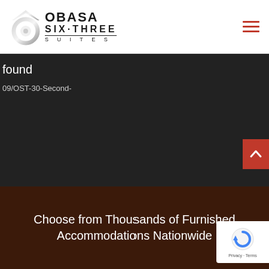[Figure (logo): Obasa Six-Three Suites logo with metallic spiral icon and text]
found
09/OST-30-Second-
[Figure (illustration): Scroll-to-top button with upward chevron arrow on red background]
Choose from Thousands of Furnished Accommodations Nationwide
[Figure (other): Google reCAPTCHA badge with Privacy and Terms links]